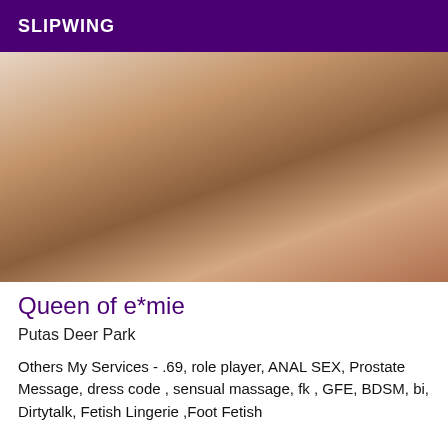SLIPWING
[Figure (photo): Close-up photo of two people, one touching the other's torso, sensual/adult content]
Queen of e*mie
Putas Deer Park
Others My Services - .69, role player, ANAL SEX, Prostate Message, dress code , sensual massage, fk , GFE, BDSM, bi, Dirtytalk, Fetish Lingerie ,Foot Fetish